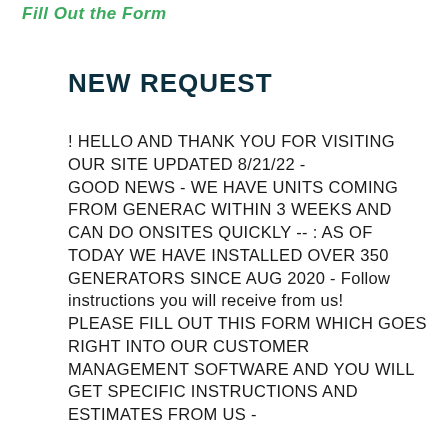Fill Out the Form
NEW REQUEST
! HELLO AND THANK YOU FOR VISITING OUR SITE UPDATED 8/21/22 - GOOD NEWS - WE HAVE UNITS COMING FROM GENERAC WITHIN 3 WEEKS AND CAN DO ONSITES QUICKLY -- : AS OF TODAY WE HAVE INSTALLED OVER 350 GENERATORS SINCE AUG 2020 - Follow instructions you will receive from us! PLEASE FILL OUT THIS FORM WHICH GOES RIGHT INTO OUR CUSTOMER MANAGEMENT SOFTWARE AND YOU WILL GET SPECIFIC INSTRUCTIONS AND ESTIMATES FROM US -